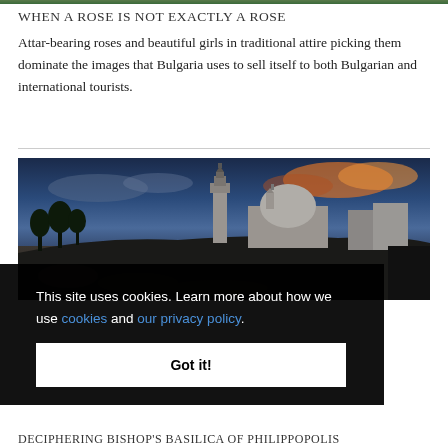[Figure (photo): Thin strip of green/nature image at the very top of the page]
WHEN A ROSE IS NOT EXACTLY A ROSE
Attar-bearing roses and beautiful girls in traditional attire picking them dominate the images that Bulgaria uses to sell itself to both Bulgarian and international tourists.
[Figure (photo): Panoramic dusk photo of a historic city skyline with a church dome, bell tower, and classical buildings against a dramatic cloudy sky]
This site uses cookies. Learn more about how we use cookies and our privacy policy.
Got it!
DECIPHERING BISHOP'S BASILICA OF PHILIPPOPOLIS